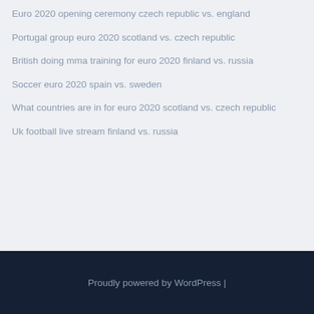Euro 2020 opening ceremony czech republic vs. england
Portugal group euro 2020 scotland vs. czech republic
British doing mma training for euro 2020 finland vs. russia
Soccer euro 2020 spain vs. sweden
What countries are in for euro 2020 scotland vs. czech republic
Uk football live stream finland vs. russia
Proudly powered by WordPress |